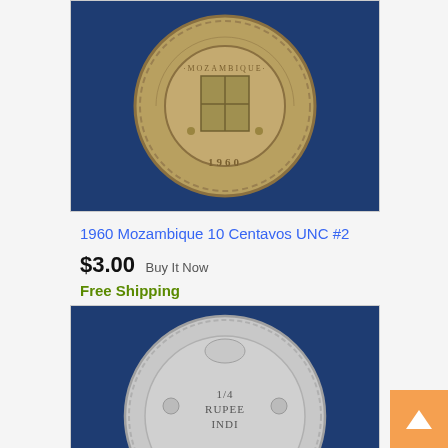[Figure (photo): Close-up photo of a 1960 Mozambique 10 Centavos coin showing the reverse side with a coat of arms and the year 1960, on a blue fabric background.]
1960 Mozambique 10 Centavos UNC #2
$3.00  Buy It Now
Free Shipping
[Figure (photo): Close-up photo of a 1/4 Rupee India coin showing British Indian colonial design with floral motifs and crown, on a blue fabric background.]